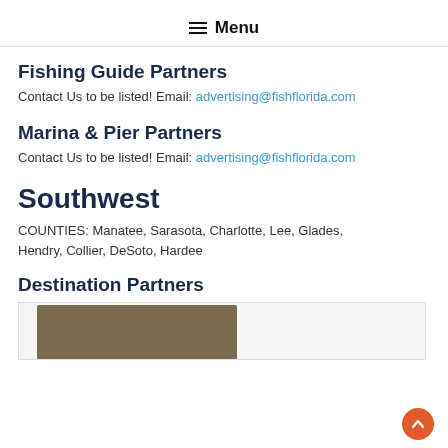≡ Menu
Fishing Guide Partners
Contact Us to be listed! Email: advertising@fishflorida.com
Marina & Pier Partners
Contact Us to be listed! Email: advertising@fishflorida.com
Southwest
COUNTIES: Manatee, Sarasota, Charlotte, Lee, Glades, Hendry, Collier, DeSoto, Hardee
Destination Partners
[Figure (photo): Destination partner image placeholder]